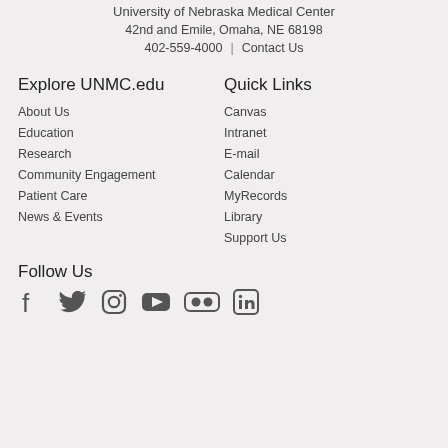University of Nebraska Medical Center
42nd and Emile, Omaha, NE 68198
402-559-4000  |  Contact Us
Explore UNMC.edu
About Us
Education
Research
Community Engagement
Patient Care
News & Events
Quick Links
Canvas
Intranet
E-mail
Calendar
MyRecords
Library
Support Us
Follow Us
[Figure (infographic): Social media icons: Facebook, Twitter, Instagram, YouTube, Flickr, LinkedIn]